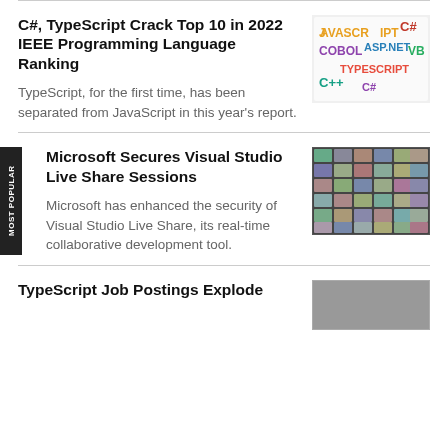C#, TypeScript Crack Top 10 in 2022 IEEE Programming Language Ranking
TypeScript, for the first time, has been separated from JavaScript in this year's report.
[Figure (photo): Colorful letter magnets on a white board spelling programming language names: JAVASCRIPT, C#, ASP.NET, COBOL, VB, TYPESCRIPT, C++, C#]
Microsoft Secures Visual Studio Live Share Sessions
Microsoft has enhanced the security of Visual Studio Live Share, its real-time collaborative development tool.
[Figure (photo): Grid of video call thumbnails showing many people in a virtual meeting]
TypeScript Job Postings Explode